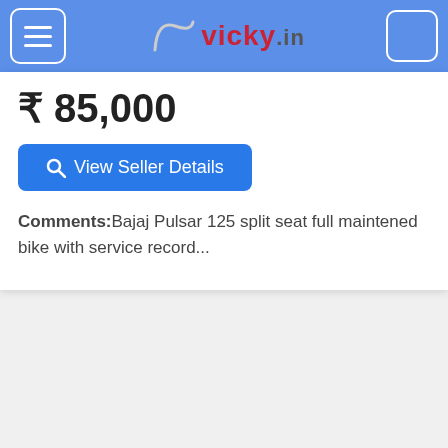vicky.in
₹ 85,000
View Seller Details
Comments: Bajaj Pulsar 125 split seat full maintened bike with service record...